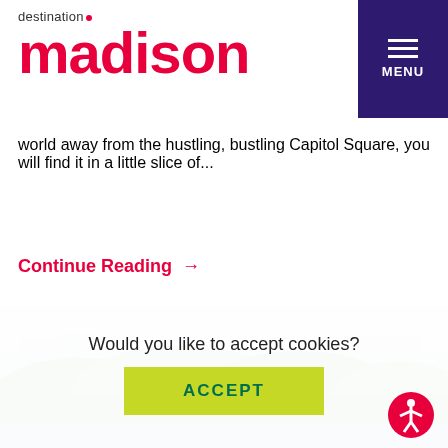destination madison
world away from the hustling, bustling Capitol Square, you will find it in a little slice of...
Continue Reading →
[Figure (photo): Aerial landscape photo showing a green tree-covered peninsula surrounded by blue lake water, with buildings visible in the background under a light blue sky.]
Would you like to accept cookies?
ACCEPT